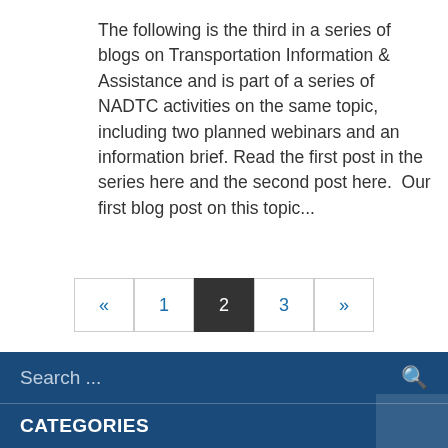The following is the third in a series of blogs on Transportation Information & Assistance and is part of a series of NADTC activities on the same topic, including two planned webinars and an information brief. Read the first post in the series here and the second post here.  Our first blog post on this topic...
« 1 2 3 »
Search ...
CATEGORIES